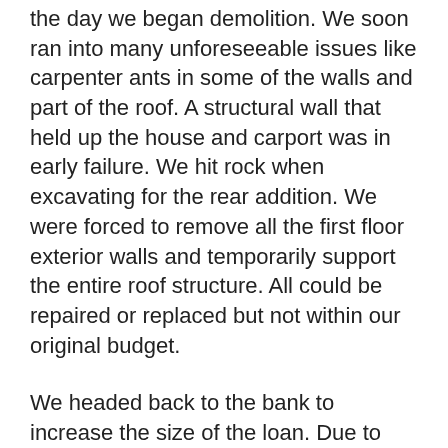the day we began demolition. We soon ran into many unforeseeable issues like carpenter ants in some of the walls and part of the roof. A structural wall that held up the house and carport was in early failure. We hit rock when excavating for the rear addition. We were forced to remove all the first floor exterior walls and temporarily support the entire roof structure. All could be repaired or replaced but not within our original budget.
We headed back to the bank to increase the size of the loan. Due to unforeseen issues and other changes, our original $150,000 construction budget was now almost $300,000. As work progressed, we decided to replace 90% of the plumbing, 100% of the electrical and the insulation cost...